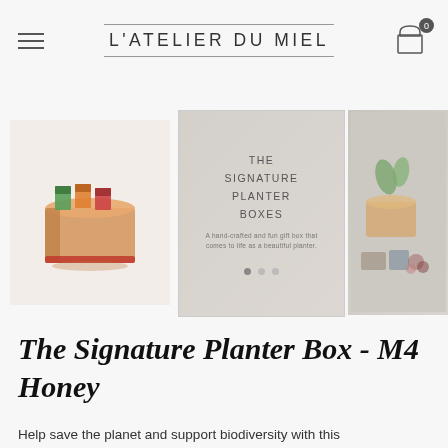L'ATELIER DU MIEL
[Figure (photo): Wooden planter box with colorful seed packets, thumbnail product image]
[Figure (photo): Main product image overlay: THE SIGNATURE PLANTER BOXES - A hand-crafted and fun gift box that comes to life as a beautiful planter]
[Figure (photo): Lifestyle photo of wooden planter boxes with plants and accessories]
The Signature Planter Box - M4 Honey
Help save the planet and support biodiversity with this